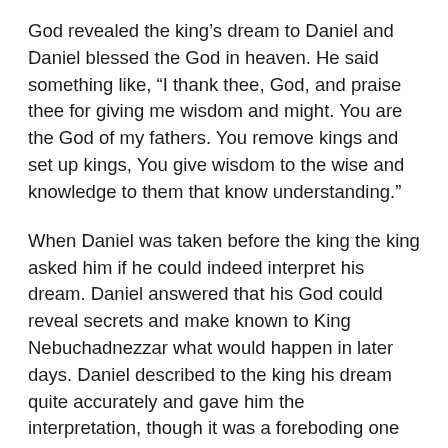God revealed the king's dream to Daniel and Daniel blessed the God in heaven. He said something like, “I thank thee, God, and praise thee for giving me wisdom and might. You are the God of my fathers. You remove kings and set up kings, You give wisdom to the wise and knowledge to them that know understanding.”
When Daniel was taken before the king the king asked him if he could indeed interpret his dream. Daniel answered that his God could reveal secrets and make known to King Nebuchadnezzar what would happen in later days. Daniel described to the king his dream quite accurately and gave him the interpretation, though it was a foreboding one for the king, meaning the king would lose his throne and everything. “And,” Daniel said, “God will set up a kingdom which shall never be destroyed.”